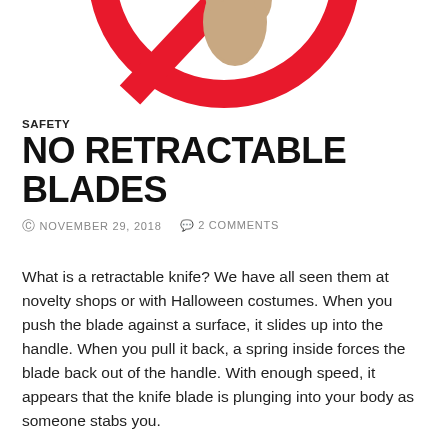[Figure (illustration): A red prohibition/no symbol (circle with diagonal bar) overlaid on what appears to be a hand holding a knife handle, depicted on a white background. Only the top portion of the symbol is visible.]
SAFETY
NO RETRACTABLE BLADES
© NOVEMBER 29, 2018   💬 2 COMMENTS
What is a retractable knife? We have all seen them at novelty shops or with Halloween costumes. When you push the blade against a surface, it slides up into the handle. When you pull it back, a spring inside forces the blade back out of the handle. With enough speed, it appears that the knife blade is plunging into your body as someone stabs you.
The illusion they create gives many a director the idea to use them onstage in a fight scene. However, they are completely unsafe. Most larger theaters already ban them outright, but many smaller and temporary performing spaces are unaware